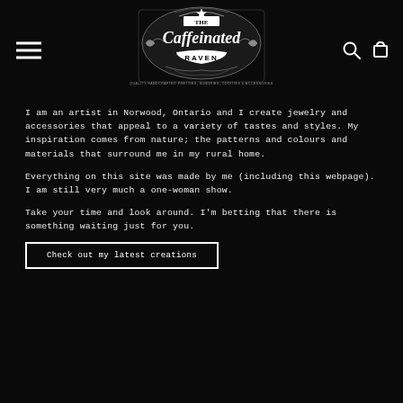[Figure (logo): The Caffeinated Raven logo — ornate black and white emblem with banner text reading 'THE Caffeinated RAVEN' and tagline 'Quality handcrafted pretties, sundries, oddities & accessories']
I am an artist in Norwood, Ontario and I create jewelry and accessories that appeal to a variety of tastes and styles. My inspiration comes from nature; the patterns and colours and materials that surround me in my rural home.
Everything on this site was made by me (including this webpage). I am still very much a one-woman show.
Take your time and look around. I'm betting that there is something waiting just for you.
Check out my latest creations